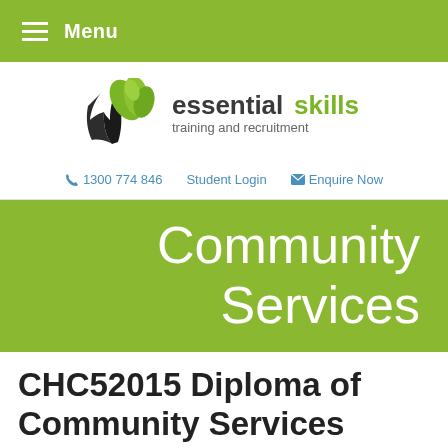Menu
[Figure (logo): Essential Skills Training and Recruitment logo with stylized book and green leaves]
1300 774 846   Student Login   Enquire Now
Community Services
CHC52015 Diploma of Community Services